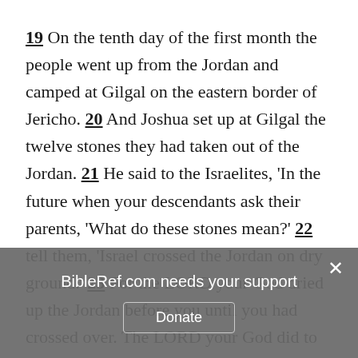19 On the tenth day of the first month the people went up from the Jordan and camped at Gilgal on the eastern border of Jericho. 20 And Joshua set up at Gilgal the twelve stones they had taken out of the Jordan. 21 He said to the Israelites, 'In the future when your descendants ask their parents, 'What do these stones mean?' 22 tell them, 'Israel crossed the Jordan on dry ground.' 23 For the LORD your God dried up the Jordan before you until you had crossed over. The LORD your God did to the Jordan what he had done to the Red Sea when he dried it up before us until we had crossed.
BibleRef.com needs your support
Donate